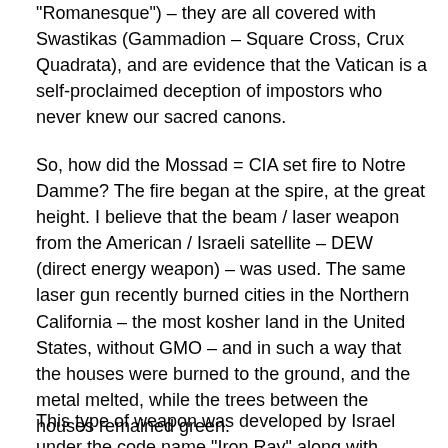“Romanesque”) – they are all covered with Swastikas (Gammadion – Square Cross, Crux Quadrata), and are evidence that the Vatican is a self-proclaimed deception of impostors who never knew our sacred canons.
So, how did the Mossad = CIA set fire to Notre Damme? The fire began at the spire, at the great height. I believe that the beam / laser weapon from the American / Israeli satellite – DEW (direct energy weapon) – was used. The same laser gun recently burned cities in the Northern California – the most kosher land in the United States, without GMO – and in such a way that the houses were burned to the ground, and the metal melted, while the trees between the houses remained green.
This type of weapon was developed by Israel under the code name “Iron Ray” along with Boeing. Israel’s goal?